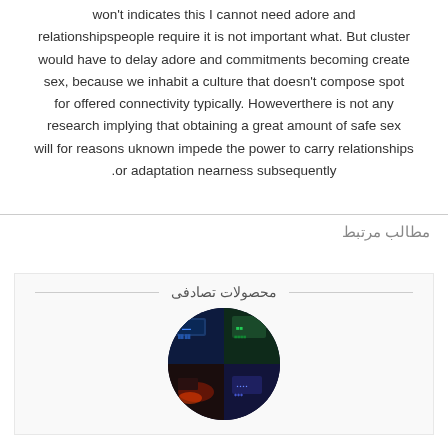won't indicates this I cannot need adore and relationshipspeople require it is not important what. But cluster would have to delay adore and commitments becoming create sex, because we inhabit a culture that doesn't compose spot for offered connectivity typically. Howeverthere is not any research implying that obtaining a great amount of safe sex will for reasons uknown impede the power to carry relationships or adaptation nearness subsequently.
مطالب مرتبط
محصولات تصادفی
[Figure (photo): Circular product image showing a dark sci-fi/gaming themed collage with colorful lights and screens]